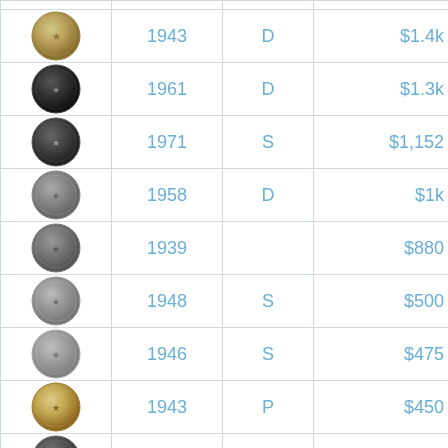| Coin | Year | Mint | Price |
| --- | --- | --- | --- |
| [coin] | 1943 | D | $1.4k |
| [coin] | 1961 | D | $1.3k |
| [coin] | 1971 | S | $1,152 |
| [coin] | 1958 | D | $1k |
| [coin] | 1939 |  | $880 |
| [coin] | 1948 | S | $500 |
| [coin] | 1946 | S | $475 |
| [coin] | 1943 | P | $450 |
| [coin] | 1976 | D | $440 |